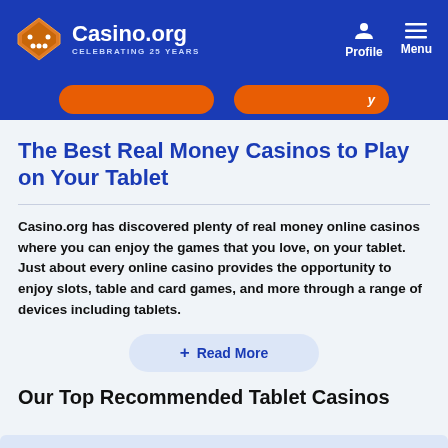Casino.org — CELEBRATING 25 YEARS — Profile — Menu
[Figure (screenshot): Blue navigation header with Casino.org logo, profile icon, and menu icon]
The Best Real Money Casinos to Play on Your Tablet
Casino.org has discovered plenty of real money online casinos where you can enjoy the games that you love, on your tablet. Just about every online casino provides the opportunity to enjoy slots, table and card games, and more through a range of devices including tablets.
Read More
Our Top Recommended Tablet Casinos